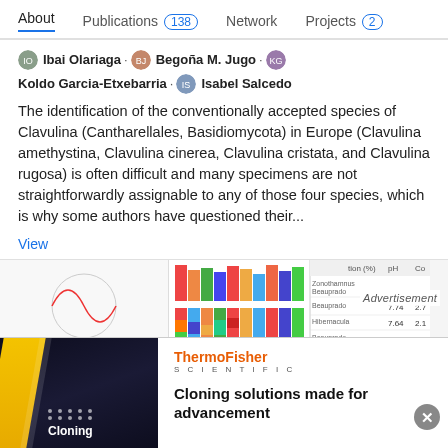About  Publications 138  Network  Projects 2
Ibai Olariaga · Begoña M. Jugo · Koldo Garcia-Etxebarria · Isabel Salcedo
The identification of the conventionally accepted species of Clavulina (Cantharellales, Basidiomycota) in Europe (Clavulina amethystina, Clavulina cinerea, Clavulina cristata, and Clavulina rugosa) is often difficult and many specimens are not straightforwardly assignable to any of those four species, which is why some authors have questioned their...
View
[Figure (screenshot): Preview strip showing small chart thumbnails and a partial data table with columns including pH and percentage values (7.74, 7.64, 8.19) and an Advertisement overlay]
[Figure (logo): ThermoFisher Scientific logo and advertisement banner: Cloning solutions made for advancement]